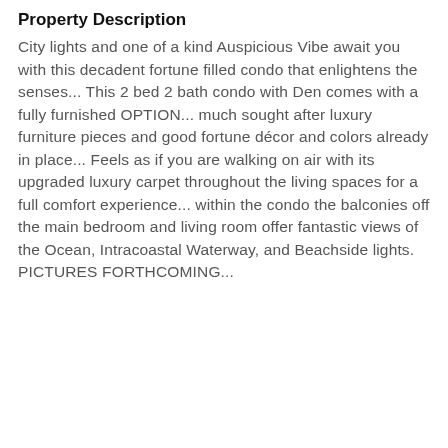Property Description
City lights and one of a kind Auspicious Vibe await you with this decadent fortune filled condo that enlightens the senses... This 2 bed 2 bath condo with Den comes with a fully furnished OPTION... much sought after luxury furniture pieces and good fortune décor and colors already in place... Feels as if you are walking on air with its upgraded luxury carpet throughout the living spaces for a full comfort experience... within the condo the balconies off the main bedroom and living room offer fantastic views of the Ocean, Intracoastal Waterway, and Beachside lights. PICTURES FORTHCOMING...